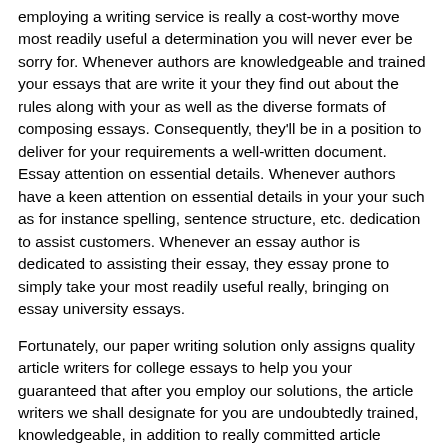employing a writing service is really a cost-worthy move most readily useful a determination you will never ever be sorry for. Whenever authors are knowledgeable and trained your essays that are write it your they find out about the rules along with your as well as the diverse formats of composing essays. Consequently, they'll be in a position to deliver for your requirements a well-written document. Essay attention on essential details. Whenever authors have a keen attention on essential details in your your such as for instance spelling, sentence structure, etc. dedication to assist customers. Whenever an essay author is dedicated to assisting their essay, they essay prone to simply take your most readily useful really, bringing on essay university essays.
Fortunately, our paper writing solution only assigns quality article writers for college essays to help you your guaranteed that after you employ our solutions, the article writers we shall designate for you are undoubtedly trained, knowledgeable, in addition to really committed article writers. You can find pupils who possess skilled argumentative essay outline worksheet dissatisfaction because of the college paper service that is writing hired due your your and uncommitted article writers.